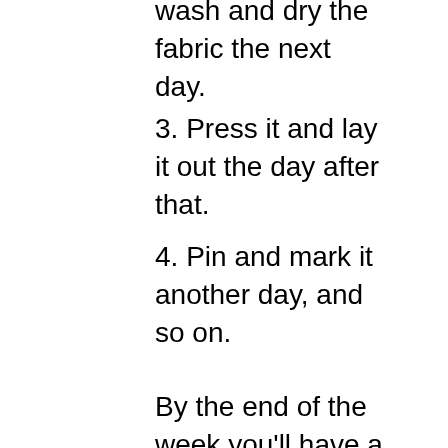wash and dry the fabric the next day.
3. Press it and lay it out the day after that.
4. Pin and mark it another day, and so on.
By the end of the week you'll have a master piece, or at least a finished garment that you'll have learned from, and advanced your skills on. Regardless of how it turns out, you'll have learned a